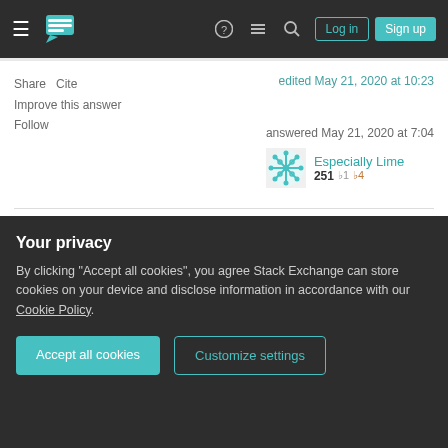Stack Exchange navigation bar with Log in and Sign up buttons
Share   Cite
Improve this answer
Follow
edited May 21, 2020 at 10:23
answered May 21, 2020 at 7:04
Especially Lime
251  1  4
I'm not sure I followed, If I got that right, what you mean is that I should run the algorithm on the graph and keep the length ("weight") of the shortest path , but how will it know which actual path to return? also, how
Your privacy
By clicking "Accept all cookies", you agree Stack Exchange can store cookies on your device and disclose information in accordance with our Cookie Policy.
Accept all cookies   Customize settings